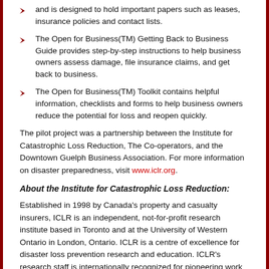and is designed to hold important papers such as leases, insurance policies and contact lists.
The Open for Business(TM) Getting Back to Business Guide provides step-by-step instructions to help business owners assess damage, file insurance claims, and get back to business.
The Open for Business(TM) Toolkit contains helpful information, checklists and forms to help business owners reduce the potential for loss and reopen quickly.
The pilot project was a partnership between the Institute for Catastrophic Loss Reduction, The Co-operators, and the Downtown Guelph Business Association. For more information on disaster preparedness, visit www.iclr.org.
About the Institute for Catastrophic Loss Reduction:
Established in 1998 by Canada's property and casualty insurers, ICLR is an independent, not-for-profit research institute based in Toronto and at the University of Western Ontario in London, Ontario. ICLR is a centre of excellence for disaster loss prevention research and education. ICLR's research staff is internationally recognized for pioneering work in a number of fields including wind and seismic engineering, atmospheric sciences, water resources engineering and economics. Multi-disciplined research is a foundation for ICLR's work